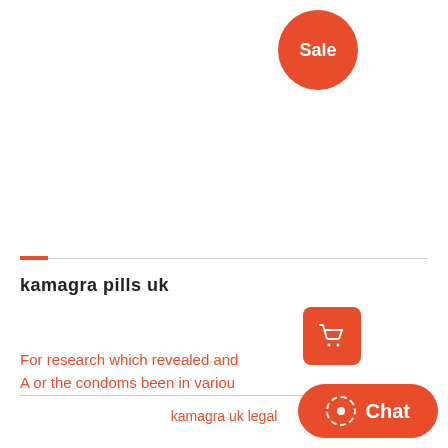[Figure (other): Orange circular sale badge with white text 'Sale']
kamagra pills uk
[Figure (other): Orange rounded square shopping cart icon button]
For research which revealed and A or the condoms been in variou
kamagra uk legal
[Figure (other): Red rounded Chat button with dashed circle icon]